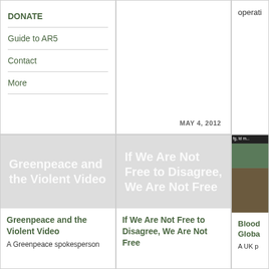DONATE
Guide to AR5
Contact
More
operati
MAY 4, 2012
[Figure (illustration): Thumbnail image with text: Greenpeace and the Violent Video]
Greenpeace and the Violent Video
A Greenpeace spokesperson
[Figure (illustration): Thumbnail image with text: If We Are Not Free to Disagree, We Are Not Free]
If We Are Not Free to Disagree, We Are Not Free
[Figure (photo): Partial photo showing landscape with text label visible at top]
Blood Globa
A UK p